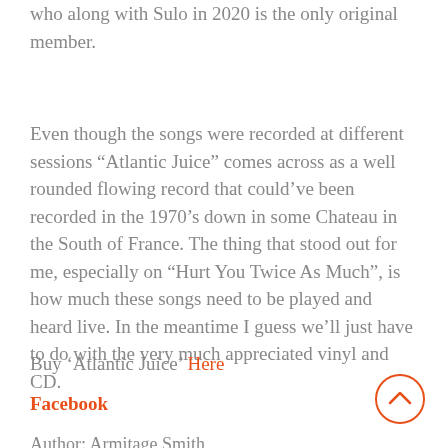who along with Sulo in 2020 is the only original member.
Even though the songs were recorded at different sessions “Atlantic Juice” comes across as a well rounded flowing record that could’ve been recorded in the 1970’s down in some Chateau in the South of France. The thing that stood out for me, especially on “Hurt You Twice As Much”, is how much these songs need to be played and heard live. In the meantime I guess we’ll just have to do with the very much appreciated vinyl and CD.
Buy ‘Atlantic Juice’ Here
Facebook
Author: Armitage Smith